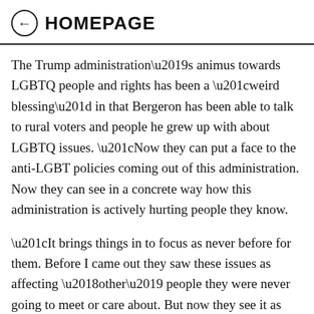← HOMEPAGE
The Trump administration’s animus towards LGBTQ people and rights has been a “weird blessing” in that Bergeron has been able to talk to rural voters and people he grew up with about LGBTQ issues. “Now they can put a face to the anti-LGBT policies coming out of this administration. Now they can see in a concrete way how this administration is actively hurting people they know.
“It brings things in to focus as never before for them. Before I came out they saw these issues as affecting ‘other’ people they were never going to meet or care about. But now they see it as something affecting someone in their lives, and that it’s bad and wrong.”
One of the biggest blocks to LGBTQ candidates standing,